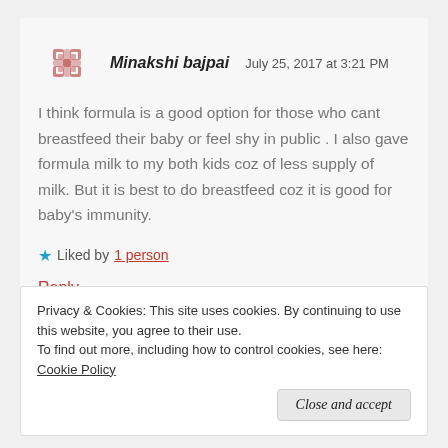[Figure (logo): Decorative avatar icon with pink/rose colored snowflake-like geometric pattern]
Minakshi bajpai   July 25, 2017 at 3:21 PM
I think formula is a good option for those who cant breastfeed their baby or feel shy in public . I also gave formula milk to my both kids coz of less supply of milk. But it is best to do breastfeed coz it is good for baby's immunity.
★ Liked by 1 person
Reply
Privacy & Cookies: This site uses cookies. By continuing to use this website, you agree to their use.
To find out more, including how to control cookies, see here: Cookie Policy
Close and accept